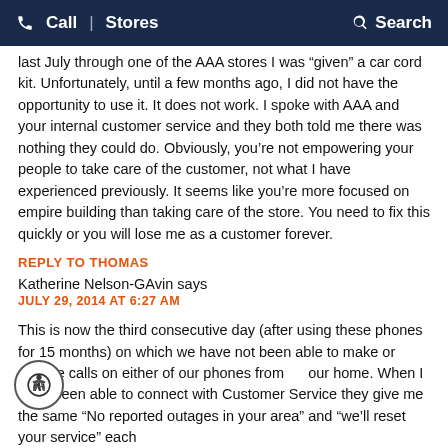Call | Stores   Search
last July through one of the AAA stores I was “given” a car cord kit. Unfortunately, until a few months ago, I did not have the opportunity to use it. It does not work. I spoke with AAA and your internal customer service and they both told me there was nothing they could do. Obviously, you’re not empowering your people to take care of the customer, not what I have experienced previously. It seems like you’re more focused on empire building than taking care of the store. You need to fix this quickly or you will lose me as a customer forever.
REPLY TO THOMAS
Katherine Nelson-GAvin says
JULY 29, 2014 AT 6:27 AM
This is now the third consecutive day (after using these phones for 15 months) on which we have not been able to make or receive calls on either of our phones from our home. When I have been able to connect with Customer Service they give me the same “No reported outages in your area” and “we’ll reset your service” each